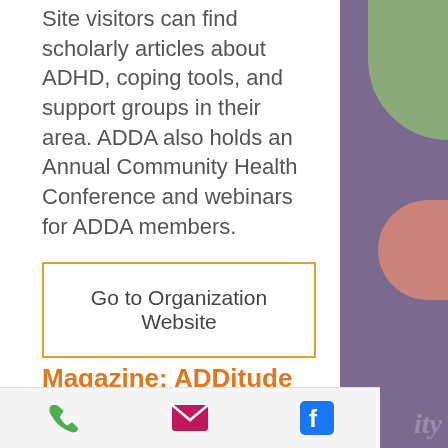Site visitors can find scholarly articles about ADHD, coping tools, and support groups in their area. ADDA also holds an Annual Community Health Conference and webinars for ADDA members.
Go to Organization Website
Magazine: ADDitude Magazine
Online version of ADDitude Magazine is a comprehensive resource for